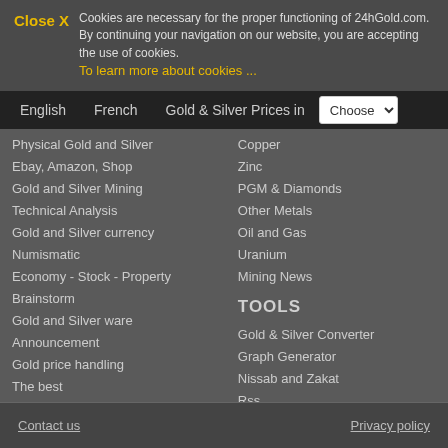Close X   Cookies are necessary for the proper functioning of 24hGold.com. By continuing your navigation on our website, you are accepting the use of cookies.
To learn more about cookies ...
English   French   Gold & Silver Prices in   Choose
Physical Gold and Silver
Ebay, Amazon, Shop
Gold and Silver Mining
Technical Analysis
Gold and Silver currency
Numismatic
Economy - Stock - Property
Brainstorm
Gold and Silver ware
Announcement
Gold price handling
The best
The best places
24hGold
Copper
Zinc
PGM & Diamonds
Other Metals
Oil and Gas
Uranium
Mining News
TOOLS
Gold & Silver Converter
Graph Generator
Nissab and Zakat
Rss
Contact us   Privacy policy